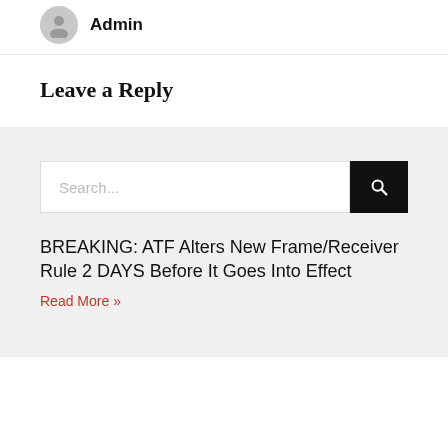[Figure (illustration): User avatar icon (grey silhouette) with 'Admin' bold text label to the right]
Leave a Reply
[Figure (screenshot): Search bar with placeholder text 'Search...' and a black search button with magnifying glass icon]
BREAKING: ATF Alters New Frame/Receiver Rule 2 DAYS Before It Goes Into Effect
Read More »